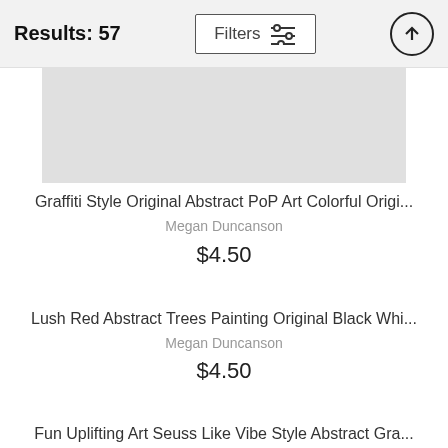Results: 57
[Figure (screenshot): Truncated product image placeholder (gray rectangle) for Graffiti Style Original Abstract PoP Art Colorful Origi...]
Graffiti Style Original Abstract PoP Art Colorful Origi...
Megan Duncanson
$4.50
[Figure (screenshot): Empty white product image area for Lush Red Abstract Trees Painting]
Lush Red Abstract Trees Painting Original Black Whi...
Megan Duncanson
$4.50
[Figure (screenshot): Empty white product image area for Fun Uplifting Art]
Fun Uplifting Art Seuss Like Vibe Style Abstract Gra...